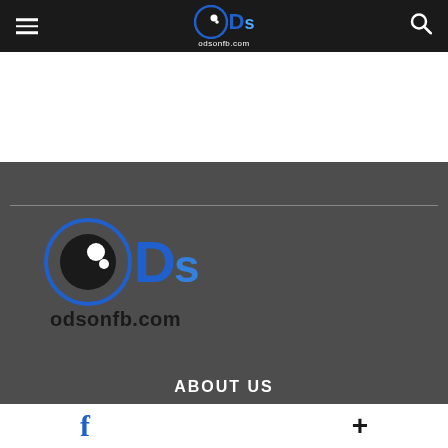ODs odsonfb.com navigation bar
[Figure (logo): ODs odsonfb.com logo in footer area of dark gray section]
ABOUT US
f +